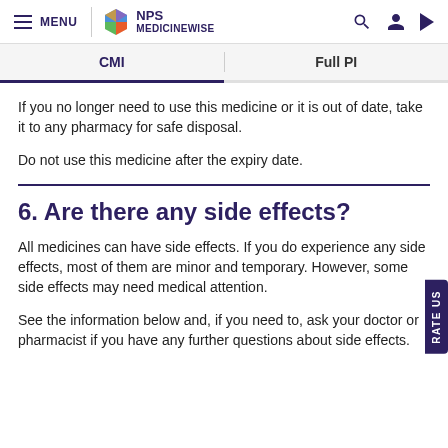MENU | NPS MEDICINEWISE
CMI | Full PI
If you no longer need to use this medicine or it is out of date, take it to any pharmacy for safe disposal.
Do not use this medicine after the expiry date.
6. Are there any side effects?
All medicines can have side effects. If you do experience any side effects, most of them are minor and temporary. However, some side effects may need medical attention.
See the information below and, if you need to, ask your doctor or pharmacist if you have any further questions about side effects.